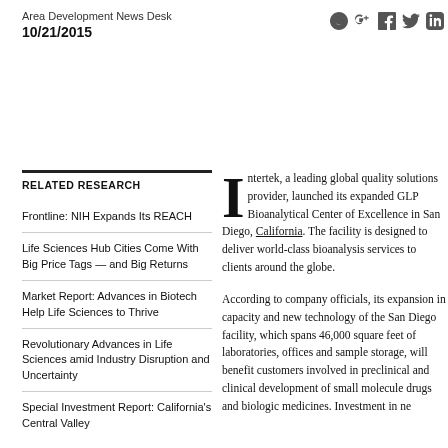Area Development News Desk
10/21/2015
[Figure (other): Social sharing icons: Reddit, Google+, Facebook, Twitter, LinkedIn]
RELATED RESEARCH
Frontline: NIH Expands Its REACH
Life Sciences Hub Cities Come With Big Price Tags — and Big Returns
Market Report: Advances in Biotech Help Life Sciences to Thrive
Revolutionary Advances in Life Sciences amid Industry Disruption and Uncertainty
Special Investment Report: California's Central Valley
Intertek, a leading global quality solutions provider, launched its expanded GLP Bioanalytical Center of Excellence in San Diego, California. The facility is designed to deliver world-class bioanalysis services to clients around the globe.
According to company officials, its expansion in capacity and new technology of the San Diego facility, which spans 46,000 square feet of laboratories, offices and sample storage, will benefit customers involved in preclinical and clinical development of small molecule drugs and biologic medicines. Investment in new